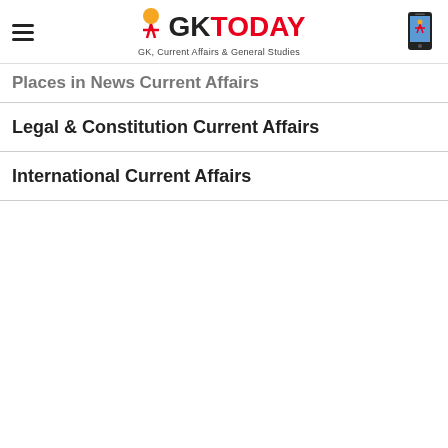GK TODAY — GK, Current Affairs & General Studies
Places in News Current Affairs
Legal & Constitution Current Affairs
International Current Affairs